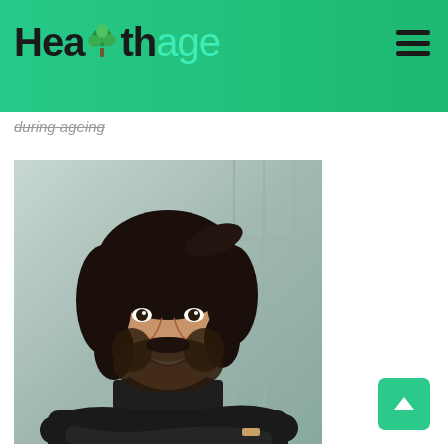Healthage
during ageing
[Figure (photo): Portrait photo of a young man with long dark curly hair and beard, smiling, wearing a black turtleneck sweater with arms crossed, standing outdoors in front of a building with glass windows]
[Figure (other): Back to top button (teal/green rounded square with upward arrow)]